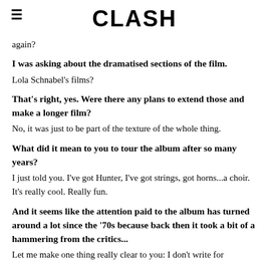CLASH
again?
I was asking about the dramatised sections of the film.
Lola Schnabel's films?
That's right, yes. Were there any plans to extend those and make a longer film?
No, it was just to be part of the texture of the whole thing.
What did it mean to you to tour the album after so many years?
I just told you. I've got Hunter, I've got strings, got horns...a choir. It's really cool. Really fun.
And it seems like the attention paid to the album has turned around a lot since the ‘70s because back then it took a bit of a hammering from the critics...
Let me make one thing really clear to you: I don’t write for